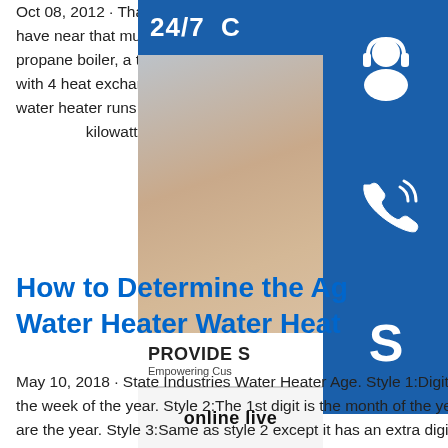Oct 08, 2012 · That sounds expensive. I know that I put up my tubing during construction but I do not have near that much in my entire system. I have over 7000' of tubing, 7 zones, a triangle tube propane boiler, a triangle tube indirect water heater, a froling 40/50 and a 1500 gal unpres tank with 4 heat exchangers in it. How Much Water Heater Affect an Electric Bill Dec 15, 2... water heater runs three hours daily. A 50-gall water heater with a .90 EF and an electricity kilowatt hour will cost $781 to operate each y...
[Figure (illustration): Customer support advertisement panel showing a woman wearing a headset, with blue icon boxes for 24/7 support (headset icon), phone (phone icon), and Skype (S icon), plus a 'PROVIDE - Empowering Customers' branding bar and 'online live' button.]
How to Determine the Age of a Water Heater Water Heater...
May 10, 2018 · State Industries Water Heater Age. Style 1:Digits 1-2 are the year and digits 3-4 are the week of the year. Style 2:The 1st digit is the month of the year using the key below and digits 2-3 are the year. Style 3:Same as style 2 except it has an extra digit at the beginning. Natural Gas - Boilers - Heaters - The Home DepotGet free shipping on qualified Natural Gas Boilers or Buy Online Pick Up in Store